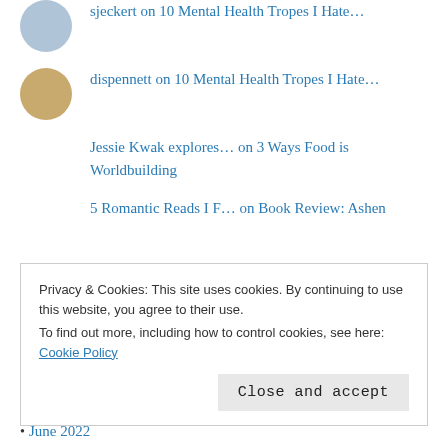sjeckert on 10 Mental Health Tropes I Hate...
dispennett on 10 Mental Health Tropes I Hate...
Jessie Kwak explores... on 3 Ways Food is Worldbuilding
5 Romantic Reads I F... on Book Review: Ashen
Privacy & Cookies: This site uses cookies. By continuing to use this website, you agree to their use.
To find out more, including how to control cookies, see here: Cookie Policy
Close and accept
June 2022